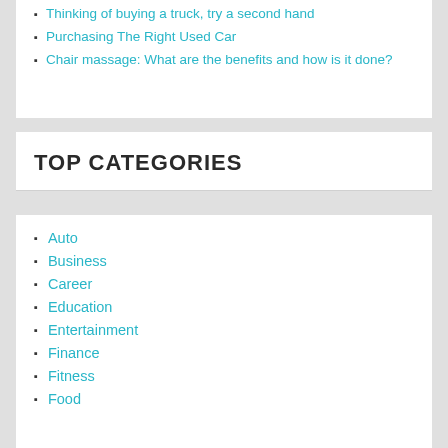Thinking of buying a truck, try a second hand
Purchasing The Right Used Car
Chair massage: What are the benefits and how is it done?
TOP CATEGORIES
Auto
Business
Career
Education
Entertainment
Finance
Fitness
Food